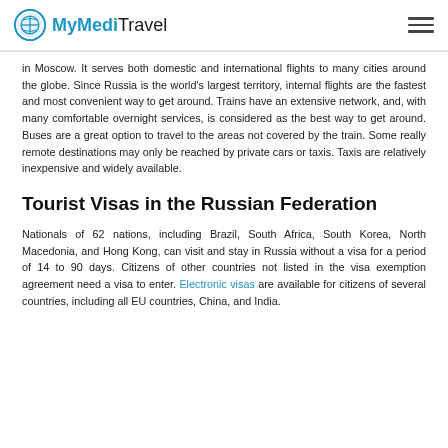MyMediTravel
in Moscow. It serves both domestic and international flights to many cities around the globe. Since Russia is the world's largest territory, internal flights are the fastest and most convenient way to get around. Trains have an extensive network, and, with many comfortable overnight services, is considered as the best way to get around. Buses are a great option to travel to the areas not covered by the train. Some really remote destinations may only be reached by private cars or taxis. Taxis are relatively inexpensive and widely available.
Tourist Visas in the Russian Federation
Nationals of 62 nations, including Brazil, South Africa, South Korea, North Macedonia, and Hong Kong, can visit and stay in Russia without a visa for a period of 14 to 90 days. Citizens of other countries not listed in the visa exemption agreement need a visa to enter. Electronic visas are available for citizens of several countries, including all EU countries, China, and India.